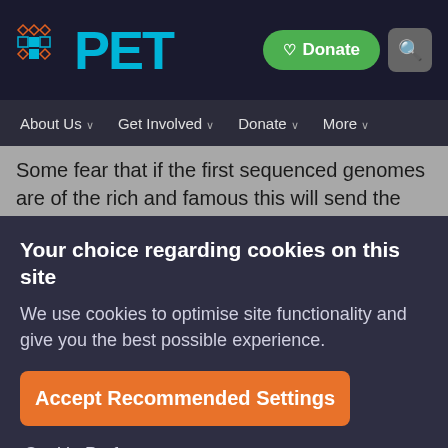[Figure (logo): PET website logo with teal colored grid icon and PET text in teal]
About Us   Get Involved   Donate   More
Some fear that if the first sequenced genomes are of the rich and famous this will send the wrong message to the
Your choice regarding cookies on this site
We use cookies to optimise site functionality and give you the best possible experience.
Accept Recommended Settings
Cookie Preferences